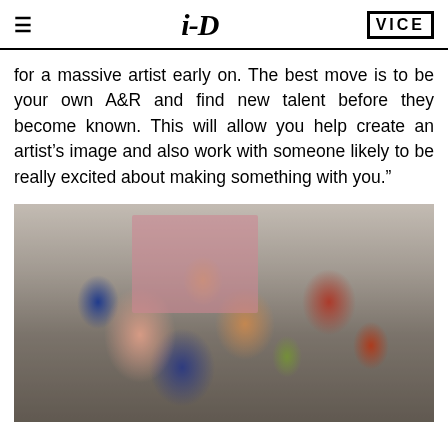i-D | VICE
for a massive artist early on. The best move is to be your own A&R and find new talent before they become known. This will allow you help create an artist’s image and also work with someone likely to be really excited about making something with you.”
[Figure (photo): Group photo of approximately 18-20 young people posing together in a photography studio setting with a pink backdrop, various casual and colorful outfits, some people making peace signs or other gestures, camera equipment visible in the foreground]